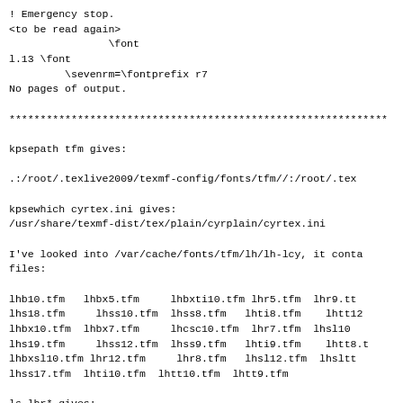! Emergency stop.
<to be read again>
                \font
l.13 \font
         \sevenrm=\fontprefix r7
No pages of output.

*************************************************************

kpsepath tfm gives:

.:/root/.texlive2009/texmf-config/fonts/tfm//:/root/.tex

kpsewhich cyrtex.ini gives:
/usr/share/texmf-dist/tex/plain/cyrplain/cyrtex.ini

I've looked into /var/cache/fonts/tfm/lh/lh-lcy, it conta
files:

lhb10.tfm   lhbx5.tfm     lhbxti10.tfm lhr5.tfm  lhr9.tt
lhs18.tfm     lhss10.tfm  lhss8.tfm   lhti8.tfm    lhtt12
lhbx10.tfm  lhbx7.tfm     lhcsc10.tfm  lhr7.tfm  lhsl10
lhs19.tfm     lhss12.tfm  lhss9.tfm   lhti9.tfm    lhtt8.t
lhbxsl10.tfm lhr12.tfm     lhr8.tfm   lhsl12.tfm  lhsltt
lhss17.tfm  lhti10.tfm  lhtt10.tfm  lhtt9.tfm

ls lhr* gives:
lhr12.tfm  lhr5.tfm  lhr7.tfm  lhr8.tfm  lhr9.tfm